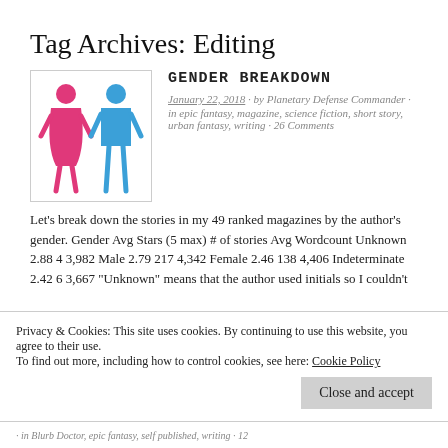Tag Archives: Editing
GENDER BREAKDOWN
January 22, 2018 · by Planetary Defense Commander · in epic fantasy, magazine, science fiction, short story, urban fantasy, writing · 26 Comments
[Figure (illustration): Two gender icons: a pink female figure and a blue male figure side by side in a white bordered box]
Let's break down the stories in my 49 ranked magazines by the author's gender. Gender Avg Stars (5 max) # of stories Avg Wordcount Unknown 2.88 4 3,982 Male 2.79 217 4,342 Female 2.46 138 4,406 Indeterminate 2.42 6 3,667 "Unknown" means that the author used initials so I couldn't
Privacy & Cookies: This site uses cookies. By continuing to use this website, you agree to their use. To find out more, including how to control cookies, see here: Cookie Policy
· in Blurb Doctor, epic fantasy, self published, writing · 12